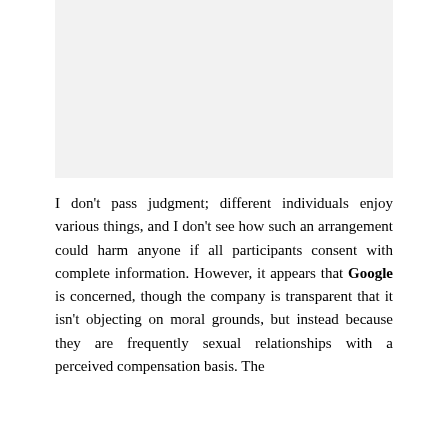[Figure (other): Light gray rectangular image placeholder area]
I don't pass judgment; different individuals enjoy various things, and I don't see how such an arrangement could harm anyone if all participants consent with complete information. However, it appears that Google is concerned, though the company is transparent that it isn't objecting on moral grounds, but instead because they are frequently sexual relationships with a perceived compensation basis. The